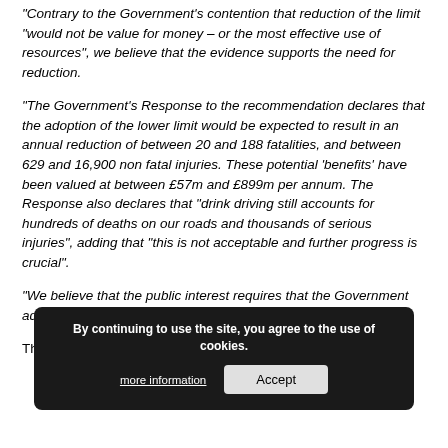“Contrary to the Government’s contention that reduction of the limit “would not be value for money – or the most effective use of resources”, we believe that the evidence supports the need for reduction.
“The Government’s Response to the recommendation declares that the adoption of the lower limit would be expected to result in an annual reduction of between 20 and 188 fatalities, and between 629 and 16,900 non fatal injuries. These potential ‘benefits’ have been valued at between £57m and £899m per annum. The Response also declares that “drink driving still accounts for hundreds of deaths on our roads and thousands of serious injuries”, adding that “this is not acceptable and further progress is crucial”.
“We believe that the public interest requires that the Government adopt this measure to reduce deaths and injuries.”
The signatories to the letter are: